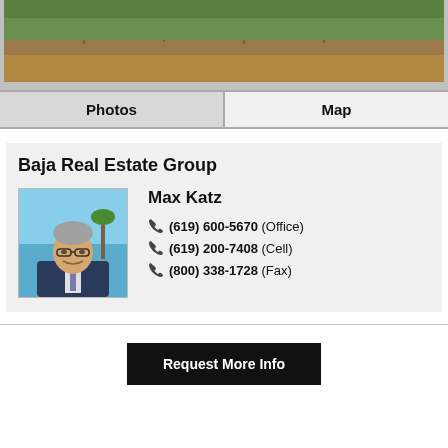[Figure (photo): Aerial or landscape photo showing vegetation and dirt/soil hillside at top of page, cropped to show only bottom portion]
Photos
Map
Baja Real Estate Group
[Figure (photo): Headshot of Max Katz, a middle-aged man in a suit with glasses, ocean and palm tree in background]
Max Katz
(619) 600-5670 (Office)
(619) 200-7408 (Cell)
(800) 338-1728 (Fax)
Request More Info